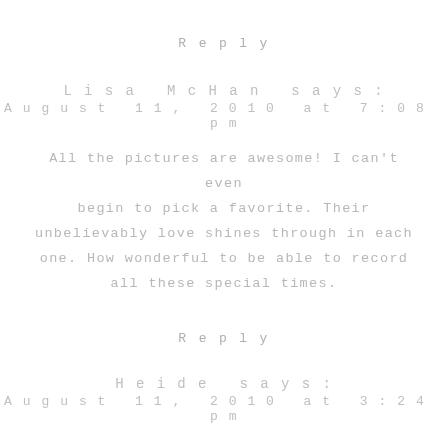Reply
Lisa McHan says:
August 11, 2010 at 7:08 pm
All the pictures are awesome! I can't even begin to pick a favorite. Their unbelievably love shines through in each one. How wonderful to be able to record all these special times.
Reply
Heide says:
August 11, 2010 at 3:24 pm